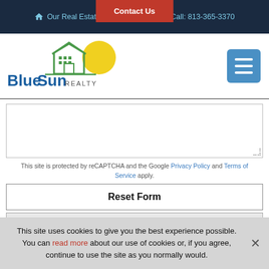Our Real Estate Company   Call: 813-365-3370   Contact Us
[Figure (logo): BlueSun Realty logo with house and sun graphic]
[Figure (other): Hamburger menu icon button]
[Figure (other): Empty textarea form field with resize handle]
This site is protected by reCAPTCHA and the Google Privacy Policy and Terms of Service apply.
Reset Form
This site uses cookies to give you the best experience possible. You can read more about our use of cookies or, if you agree, continue to use the site as you normally would.